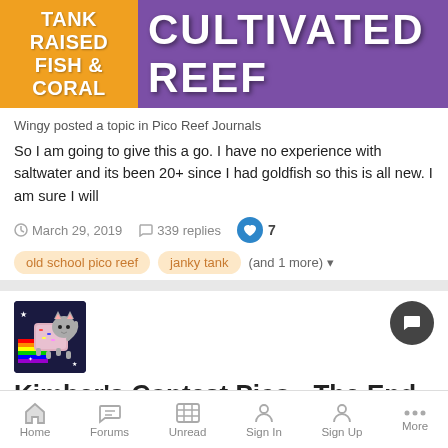[Figure (logo): Cultivated Reef banner with orange left panel saying TANK RAISED FISH & CORAL and purple right panel saying CULTIVATED REEF]
Wingy posted a topic in Pico Reef Journals
So I am going to give this a go. I have no experience with saltwater and its been 20+ since I had goldfish so this is all new. I am sure I will
March 29, 2019   339 replies   7
old school pico reef   janky tank   (and 1 more)
[Figure (photo): Nyan cat avatar image on dark blue background]
Kimber's Contest Pico - The End of Bad Crab
kimberbee posted a topic in Pico Reef Journals
Will it be a Janky Tank© or not... 🤔 Follow along on Instagram: www.instagram.com/kimbomk/  Monthly updates on YouTube:
Home   Forums   Unread   Sign In   Sign Up   More